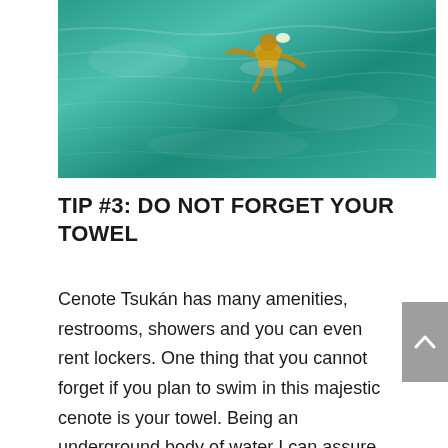[Figure (photo): Aerial or overhead view of a person swimming or snorkeling in teal/turquoise water at Cenote Tsukán. The person is wearing yellow and appears small against the vivid blue-green water surface.]
TIP #3: DO NOT FORGET YOUR TOWEL
Cenote Tsukán has many amenities, restrooms, showers and you can even rent lockers. One thing that you cannot forget if you plan to swim in this majestic cenote is your towel. Being an underground body of water I can assure you that the water is super cold. So a towel to dry yourself is one hundred percent necessary.